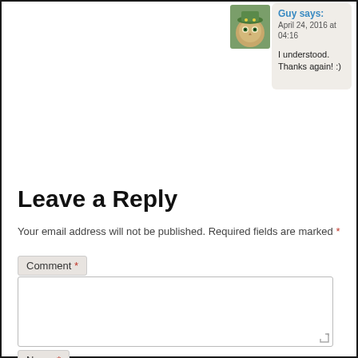[Figure (photo): Avatar image of a cat/owl wearing a green hat, partially visible at top of page]
Guy says:
April 24, 2016 at 04:16

I understood. Thanks again! :)
Leave a Reply
Your email address will not be published. Required fields are marked *
Comment *
Name *